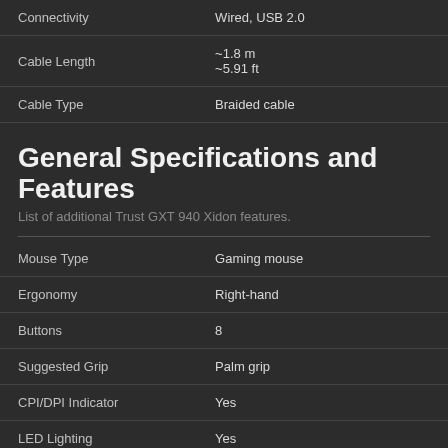|  |  |
| --- | --- |
| Connectivity | Wired, USB 2.0 |
| Cable Length | ~1.8 m
~5.91 ft |
| Cable Type | Braided cable |
General Specifications and Features
List of additional Trust GXT 940 Xidon features.
|  |  |
| --- | --- |
| Mouse Type | Gaming mouse |
| Ergonomy | Right-hand |
| Buttons | 8 |
| Suggested Grip | Palm grip |
| CPI/DPI Indicator | Yes |
| LED Lighting | Yes |
| LED Adjustable | Yes |
| Adjustable Weight | No |
| Color | Black |